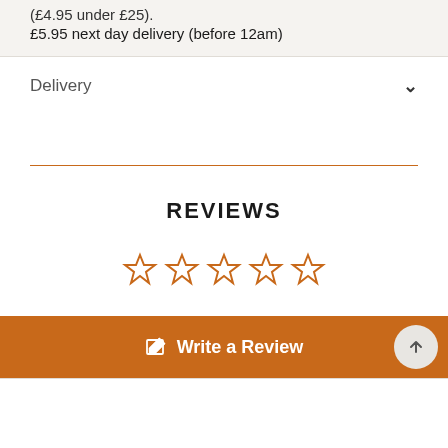(£4.95 under £25). £5.95 next day delivery (before 12am)
Delivery
REVIEWS
[Figure (other): Five empty orange star rating icons]
Write a Review